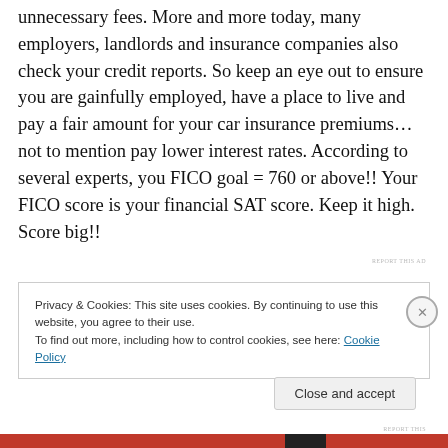unnecessary fees. More and more today, many employers, landlords and insurance companies also check your credit reports. So keep an eye out to ensure you are gainfully employed, have a place to live and pay a fair amount for your car insurance premiums… not to mention pay lower interest rates. According to several experts, you FICO goal = 760 or above!! Your FICO score is your financial SAT score. Keep it high. Score big!!
Privacy & Cookies: This site uses cookies. By continuing to use this website, you agree to their use.
To find out more, including how to control cookies, see here: Cookie Policy